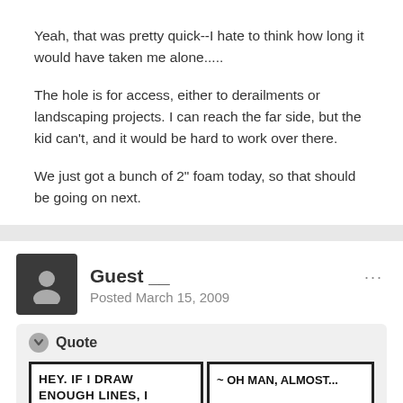Yeah, that was pretty quick--I hate to think how long it would have taken me alone.....
The hole is for access, either to derailments or landscaping projects. I can reach the far side, but the kid can't, and it would be hard to work over there.
We just got a bunch of 2" foam today, so that should be going on next.
Guest __
Posted March 15, 2009
[Figure (illustration): Quote block containing a comic strip with two panels. Left panel text: HEY. IF I DRAW ENOUGH LINES, I CAN SEE WHAT'S BEHIND THE SCREEN. Right panel shows a pink/red arrow shape with text: ~ OH MAN, ALMOST...]